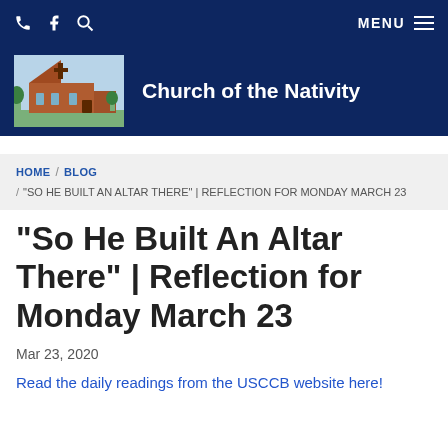Church of the Nativity — navigation bar with phone, facebook, search icons and MENU
[Figure (photo): Church of the Nativity building photo and logo header with dark blue background]
Church of the Nativity
HOME / BLOG / "SO HE BUILT AN ALTAR THERE" | REFLECTION FOR MONDAY MARCH 23
"So He Built An Altar There" | Reflection for Monday March 23
Mar 23, 2020
Read the daily readings from the USCCB website here!